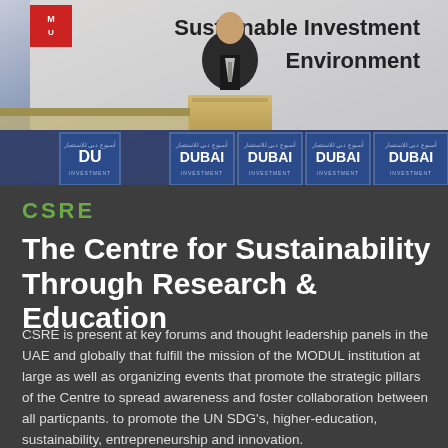[Figure (photo): Conference photo showing a speaker at a podium with 'Sustainable Investment Environment' text banner and Dubai Investment Week branding panels in the background.]
CSRE
The Centre for Sustainability Through Research & Education
CSRE is present at key forums and thought leadership panels in the UAE and globally that fulfill the mission of the MODUL institution at large as well as organizing events that promote the strategic pillars of the Centre to spread awareness and foster collaboration between all particpants. to promote the UN SDG's, higher-education, sustainability, entrepreneurship and innovation.